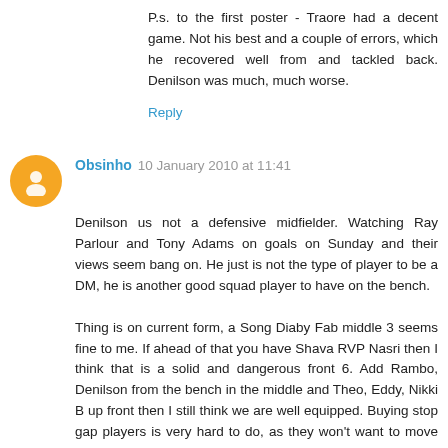P.s. to the first poster - Traore had a decent game. Not his best and a couple of errors, which he recovered well from and tackled back. Denilson was much, much worse.
Reply
Obsinho 10 January 2010 at 11:41
Denilson us not a defensive midfielder. Watching Ray Parlour and Tony Adams on goals on Sunday and their views seem bang on. He just is not the type of player to be a DM, he is another good squad player to have on the bench.

Thing is on current form, a Song Diaby Fab middle 3 seems fine to me. If ahead of that you have Shava RVP Nasri then I think that is a solid and dangerous front 6. Add Rambo, Denilson from the bench in the middle and Theo, Eddy, Nikki B up front then I still think we are well equipped. Buying stop gap players is very hard to do, as they won't want to move knowing they are stop gap.